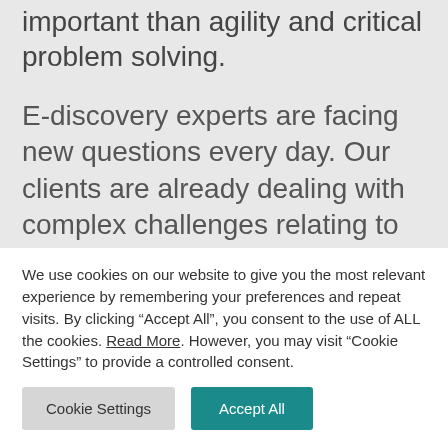important than agility and critical problem solving.
E-discovery experts are facing new questions every day. Our clients are already dealing with complex challenges relating to new data types and the myriad of tools available. At FTI, we’re investing in understanding the future of e-discovery, and building a team of technologists, developers and data scientists that will help keep our clients up-to-speed with big changes.
We use cookies on our website to give you the most relevant experience by remembering your preferences and repeat visits. By clicking “Accept All”, you consent to the use of ALL the cookies. Read More. However, you may visit "Cookie Settings" to provide a controlled consent.